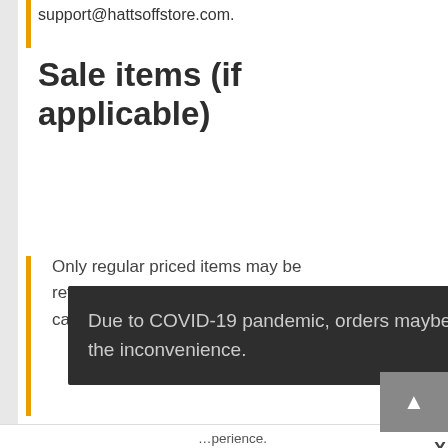support@hattsoffstore.com.
Sale items (if applicable)
Only regular priced items may be refunded, unfortunately sale items cannot be fully refunded.
Exchanges (if applicable)
Due to COVID-19 pandemic, orders maybe delayed. We regret the inconvenience.
perience. you are using this website. Accept View Policy